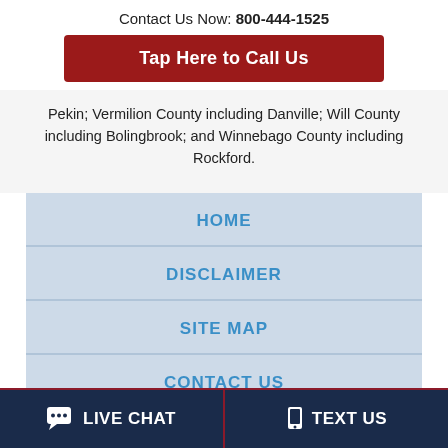Contact Us Now: 800-444-1525
Tap Here to Call Us
Pekin; Vermilion County including Danville; Will County including Bolingbrook; and Winnebago County including Rockford.
HOME
DISCLAIMER
SITE MAP
CONTACT US
LIVE CHAT
TEXT US